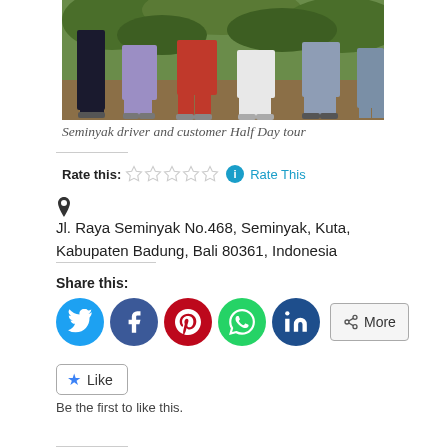[Figure (photo): Group photo of Seminyak driver and customers on a Half Day tour, showing people standing outdoors with green vegetation in background. Only lower bodies visible, wearing casual shorts and shoes.]
Seminyak driver and customer Half Day tour
Rate this: ☆☆☆☆☆ Rate This
Jl. Raya Seminyak No.468, Seminyak, Kuta, Kabupaten Badung, Bali 80361, Indonesia
Share this:
Twitter Facebook Pinterest WhatsApp LinkedIn More
Like
Be the first to like this.